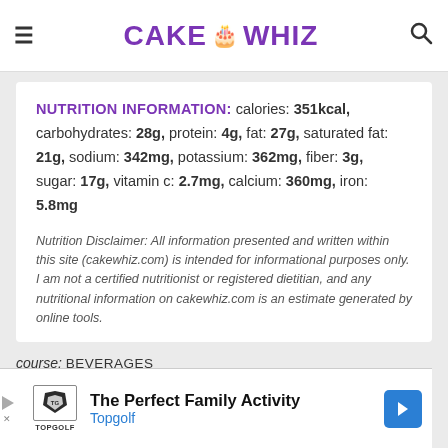CAKE WHIZ
NUTRITION INFORMATION: calories: 351kcal, carbohydrates: 28g, protein: 4g, fat: 27g, saturated fat: 21g, sodium: 342mg, potassium: 362mg, fiber: 3g, sugar: 17g, vitamin c: 2.7mg, calcium: 360mg, iron: 5.8mg
Nutrition Disclaimer: All information presented and written within this site (cakewhiz.com) is intended for informational purposes only. I am not a certified nutritionist or registered dietitian, and any nutritional information on cakewhiz.com is an estimate generated by online tools.
course: BEVERAGES
cuisine: AMERICAN, INDIAN
calories: 351
[Figure (other): Advertisement banner for Topgolf: 'The Perfect Family Activity']